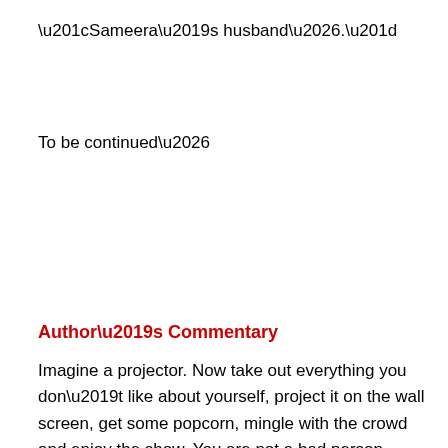“Sameera’s husband….”
To be continued…
Author’s Commentary
Imagine a projector. Now take out everything you don’t like about yourself, project it on the wall screen, get some popcorn, mingle with the crowd and enjoy the show. You are not a bad person, it’s just a part of the…